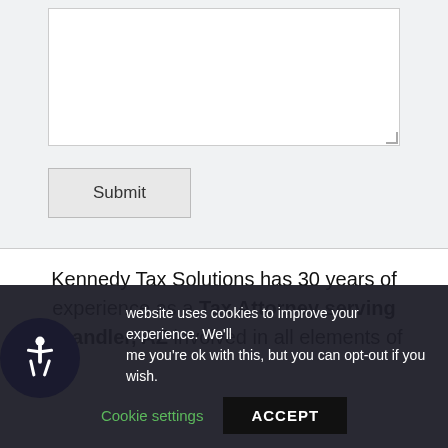[Figure (other): Text input textarea box with resize handle in bottom-right corner]
Submit
Kennedy Tax Solutions has 30 years of experience as a Tax Attorney serving Chandler, AZ involved in all elements of
website uses cookies to improve your experience. We'll me you're ok with this, but you can opt-out if you wish.
Cookie settings
ACCEPT